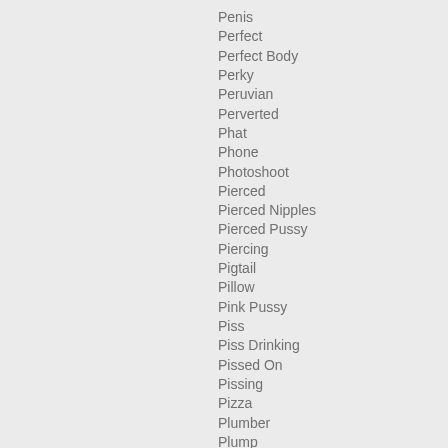Penis
Perfect
Perfect Body
Perky
Peruvian
Perverted
Phat
Phone
Photoshoot
Pierced
Pierced Nipples
Pierced Pussy
Piercing
Pigtail
Pillow
Pink Pussy
Piss
Piss Drinking
Pissed On
Pissing
Pizza
Plumber
Plump
Plump Teen